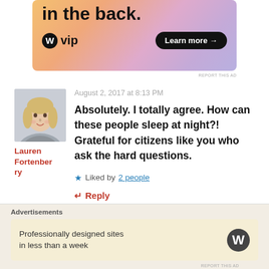[Figure (illustration): Advertisement banner for WordPress VIP with gradient background showing text 'in the back.' and a 'Learn more' button]
August 2, 2017 at 8:13 PM
[Figure (photo): Profile photo of Lauren Fortenberry, a blonde woman]
Lauren Fortenberry
Absolutely. I totally agree. How can these people sleep at night?! Grateful for citizens like you who ask the hard questions.
Liked by 2 people
Reply
Advertisements
Professionally designed sites in less than a week